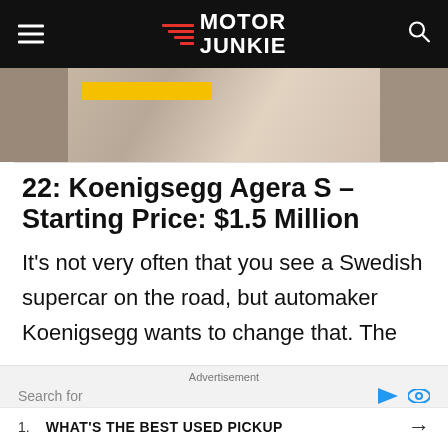MOTOR JUNKIE
[Figure (photo): Partial hero image showing a person with brown/red hair, with a yellow bar overlay near the top.]
22: Koenigsegg Agera S – Starting Price: $1.5 Million
It's not very often that you see a Swedish supercar on the road, but automaker Koenigsegg wants to change that. The
Advertisement
Search for
1. WHAT'S THE BEST USED PICKUP →